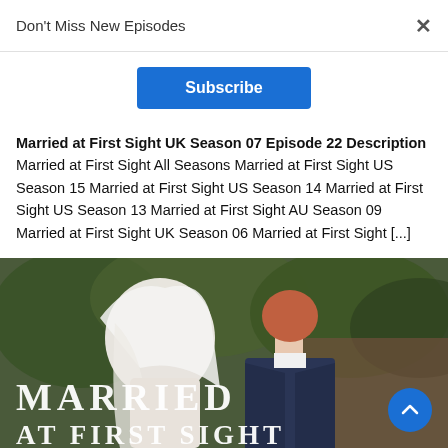Don't Miss New Episodes
Subscribe
Married at First Sight UK Season 07 Episode 22 Description Married at First Sight All Seasons Married at First Sight US Season 15 Married at First Sight US Season 14 Married at First Sight US Season 13 Married at First Sight AU Season 09 Married at First Sight UK Season 06 Married at First Sight [...]
[Figure (photo): Wedding couple seen from behind, bride in white veil and groom in navy suit, with 'MARRIED AT FIRST SIGHT' text overlay at bottom]